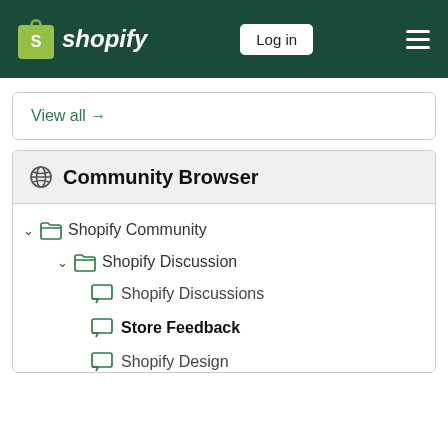Shopify — Log in
View all →
Community Browser
Shopify Community
Shopify Discussion
Shopify Discussions
Store Feedback
Shopify Design